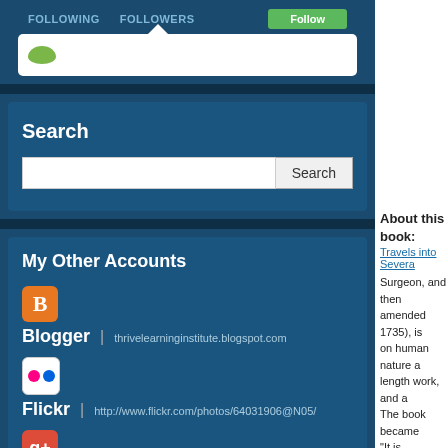FOLLOWING   FOLLOWERS
[Figure (screenshot): Search input box with avatar icon inside]
Search
[Figure (screenshot): Search input with Search button]
My Other Accounts
Blogger | thrivelearninginstitute.blogspot.com
Flickr | http://www.flickr.com/photos/64031906@N05/
Google Plus | 100966219303655242183
LiveJournal | thrivelearning
About this book:
Travels into Severa
Surgeon, and then amended 1735), is on human nature a length work, and a The book became "It is universally rea During his first voy race of tiny people, giving assurances the court. From the given the permissio Gullivor assists the